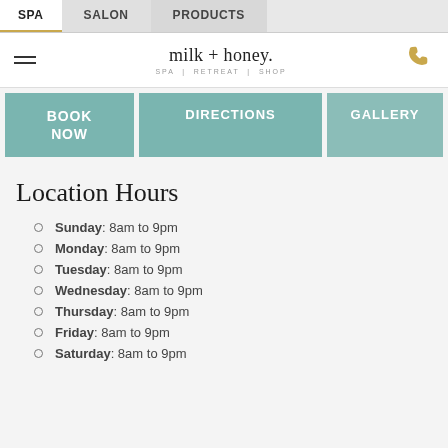SPA | SALON | PRODUCTS
[Figure (logo): milk + honey. SPA | RETREAT | SHOP logo with hamburger menu icon and phone icon]
BOOK NOW
DIRECTIONS
GALLERY
Location Hours
Sunday: 8am to 9pm
Monday: 8am to 9pm
Tuesday: 8am to 9pm
Wednesday: 8am to 9pm
Thursday: 8am to 9pm
Friday: 8am to 9pm
Saturday: 8am to 9pm